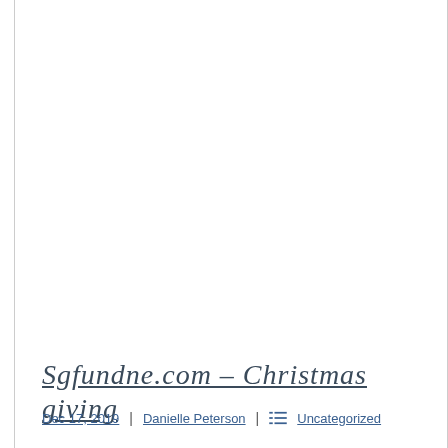Sgfundne.com – Christmas giving
Dec 17, 2019 | Danielle Peterson | Uncategorized